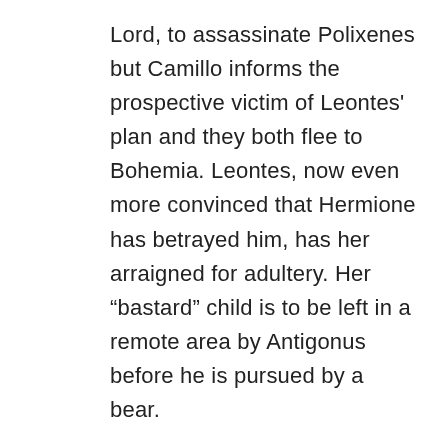Lord, to assassinate Polixenes but Camillo informs the prospective victim of Leontes' plan and they both flee to Bohemia. Leontes, now even more convinced that Hermione has betrayed him, has her arraigned for adultery. Her “bastard” child is to be left in a remote area by Antigonus before he is pursued by a bear.
Declan Donnellan's production clearly shows the disastrous consequences of male jealousy. Orlando James plays Leontes as a modern monarch in jeans